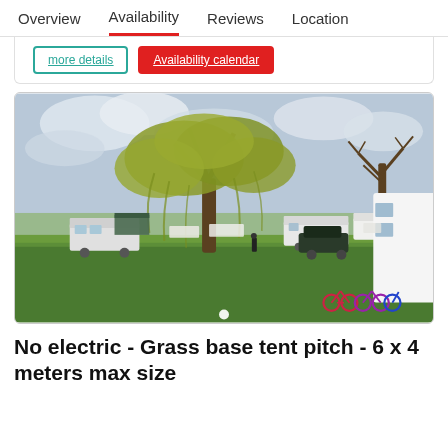Overview   Availability   Reviews   Location
[Figure (screenshot): Buttons: 'more details' (teal outline) and 'Availability calendar' (red filled)]
[Figure (photo): Outdoor campsite scene with large weeping willow tree, caravans/trailers on green grass, cloudy sky, bicycles in foreground right, another bare tree on right side]
No electric - Grass base tent pitch - 6 x 4 meters max size